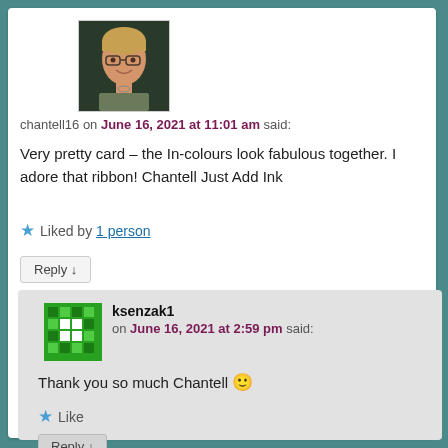[Figure (photo): Profile photo of a woman with short blonde hair and glasses, smiling, in front of a dark background with partial letters visible]
chantell16 on June 16, 2021 at 11:01 am said:
Very pretty card – the In-colours look fabulous together. I adore that ribbon! Chantell Just Add Ink
★ Liked by 1 person
Reply ↓
[Figure (illustration): Green pixel/mosaic pattern avatar for user ksenzak1]
ksenzak1 on June 16, 2021 at 2:59 pm said:
Thank you so much Chantell 🙂
★ Like
Reply ↓